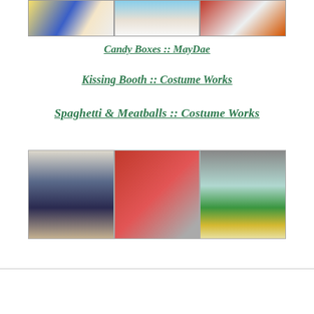[Figure (photo): Three costume photos in a horizontal strip: left shows M&M candy box costume with colorful character, center shows child in suit/tie with flowers, right shows person in red and white fringe costume]
Candy Boxes  :: MayDae
Kissing Booth  ::  Costume Works
Spaghetti & Meatballs  ::  Costume Works
[Figure (photo): Three costume photos in a horizontal strip: left shows child dressed as elderly woman with gray hair and glasses holding Mickey Mouse, center shows toddler in red striped outfit holding gumball machine, right shows child inside a Hawaii snow globe costume]